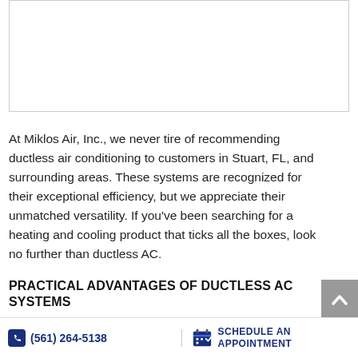[Figure (photo): Image placeholder at top of page]
At Miklos Air, Inc., we never tire of recommending ductless air conditioning to customers in Stuart, FL, and surrounding areas. These systems are recognized for their exceptional efficiency, but we appreciate their unmatched versatility. If you've been searching for a heating and cooling product that ticks all the boxes, look no further than ductless AC.
PRACTICAL ADVANTAGES OF DUCTLESS AC SYSTEMS
Ductless HVAC systems can do it all. Mini-split heat pumps between 1.5
(561) 264-5138   SCHEDULE AN Appointment